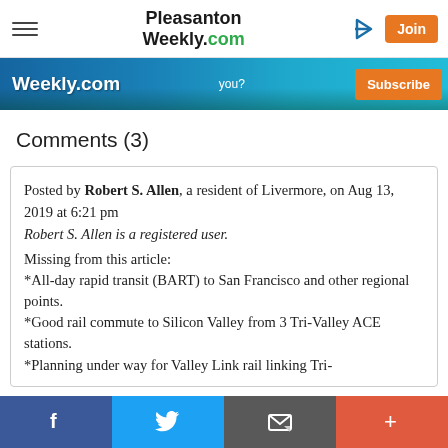Pleasanton Weekly.com — navigation bar with hamburger menu, login arrow, and Join button
[Figure (screenshot): Banner advertisement for PleasantonWeekly.com with Subscribe button and city aerial photo background]
Comments (3)
Posted by Robert S. Allen, a resident of Livermore, on Aug 13, 2019 at 6:21 pm
Robert S. Allen is a registered user.
Missing from this article:
*All-day rapid transit (BART) to San Francisco and other regional points.
*Good rail commute to Silicon Valley from 3 Tri-Valley ACE stations.
*Planning under way for Valley Link rail linking Tri-
Social share bar: Facebook, Twitter, Email, More